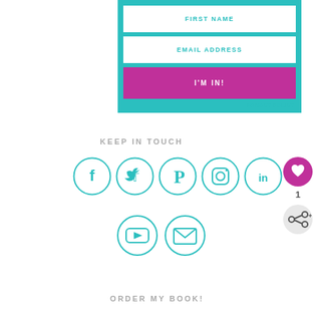[Figure (infographic): Email signup form with teal background, two white input fields (FIRST NAME, EMAIL ADDRESS), a magenta I'M IN! button, and a PRIVACY POLICY link]
KEEP IN TOUCH
[Figure (infographic): Social media icons in teal circles: Facebook, Twitter, Pinterest, Instagram, LinkedIn in first row; YouTube and Email in second row. Also a heart/like button (value 1) and share button on the right side.]
ORDER MY BOOK!